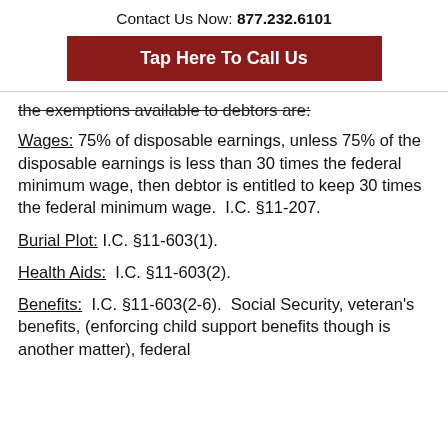Contact Us Now: 877.232.6101
Tap Here To Call Us
the exemptions available to debtors are:
Wages: 75% of disposable earnings, unless 75% of the disposable earnings is less than 30 times the federal minimum wage, then debtor is entitled to keep 30 times the federal minimum wage.  I.C. §11-207.
Burial Plot: I.C. §11-603(1).
Health Aids:  I.C. §11-603(2).
Benefits:  I.C. §11-603(2-6).  Social Security, veteran's benefits, (enforcing child support benefits though is another matter), federal